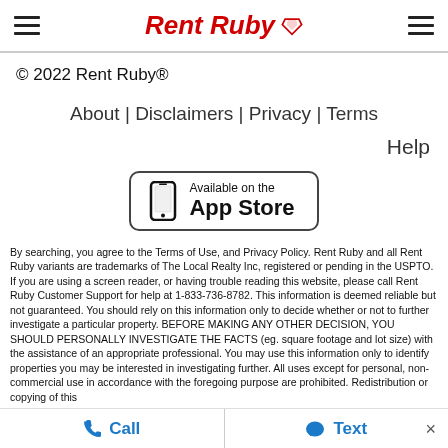Rent Ruby
© 2022 Rent Ruby®
About | Disclaimers | Privacy | Terms
Help
[Figure (other): Available on the App Store button/badge with phone icon]
By searching, you agree to the Terms of Use, and Privacy Policy. Rent Ruby and all Rent Ruby variants are trademarks of The Local Realty Inc, registered or pending in the USPTO. If you are using a screen reader, or having trouble reading this website, please call Rent Ruby Customer Support for help at 1-833-736-8782. This information is deemed reliable but not guaranteed. You should rely on this information only to decide whether or not to further investigate a particular property. BEFORE MAKING ANY OTHER DECISION, YOU SHOULD PERSONALLY INVESTIGATE THE FACTS (eg. square footage and lot size) with the assistance of an appropriate professional. You may use this information only to identify properties you may be interested in investigating further. All uses except for personal, non-commercial use in accordance with the foregoing purpose are prohibited. Redistribution or copying of this
Call   Text   ×